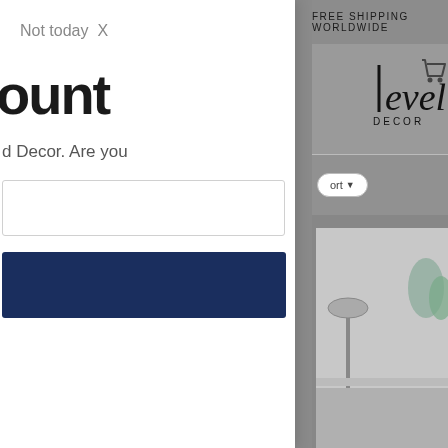FREE SHIPPING WORLDWIDE
[Figure (logo): Level Decor logo with stylized text 'level' and 'DECOR' beneath it]
[Figure (illustration): Shopping cart icon (outline style, dark gray)]
ort
[Figure (photo): Partial product image showing a home decor scene with a lamp and plant on a white surface]
Not today  X
ount
d Decor. Are you